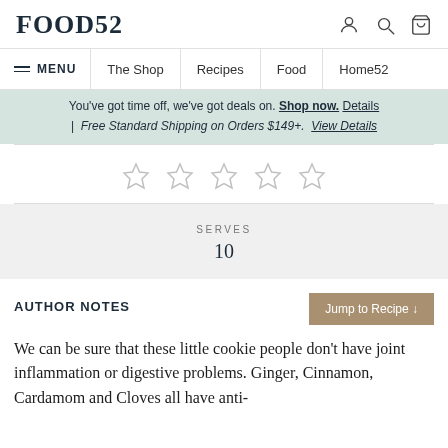FOOD52
MENU  The Shop  Recipes  Food  Home52
You've got time off, we've got deals on. Shop now. Details | Free Standard Shipping on Orders $149+. View Details
[Figure (other): Five empty star rating icons in light gray]
SERVES
10
AUTHOR NOTES
We can be sure that these little cookie people don't have joint inflammation or digestive problems. Ginger, Cinnamon, Cardamom and Cloves all have anti-